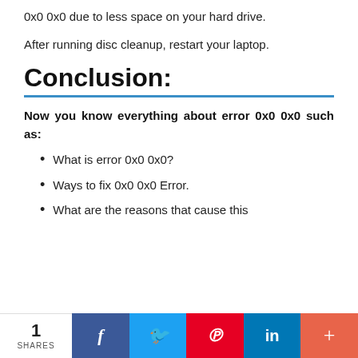0x0 0x0 due to less space on your hard drive.
After running disc cleanup, restart your laptop.
Conclusion:
Now you know everything about error 0x0 0x0 such as:
What is error 0x0 0x0?
Ways to fix 0x0 0x0 Error.
What are the reasons that cause this
1 SHARES | Facebook | Twitter | Pinterest | LinkedIn | More